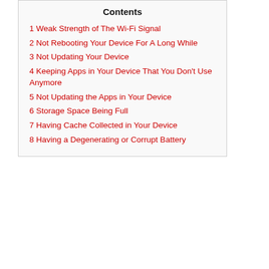Contents
1 Weak Strength of The Wi-Fi Signal
2 Not Rebooting Your Device For A Long While
3 Not Updating Your Device
4 Keeping Apps in Your Device That You Don't Use Anymore
5 Not Updating the Apps in Your Device
6 Storage Space Being Full
7 Having Cache Collected in Your Device
8 Having a Degenerating or Corrupt Battery